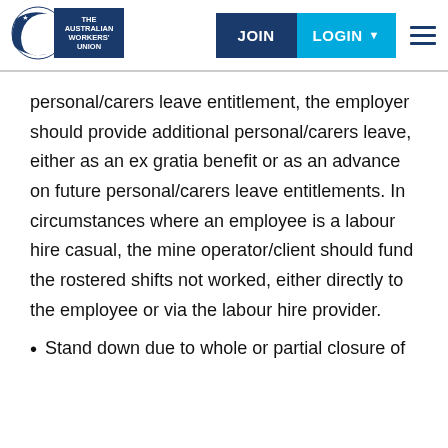[Figure (logo): The Australian Workers' Union logo with Southern Cross stars and circular emblem on dark blue background]
personal/carers leave entitlement, the employer should provide additional personal/carers leave, either as an ex gratia benefit or as an advance on future personal/carers leave entitlements. In circumstances where an employee is a labour hire casual, the mine operator/client should fund the rostered shifts not worked, either directly to the employee or via the labour hire provider.
Stand down due to whole or partial closure of